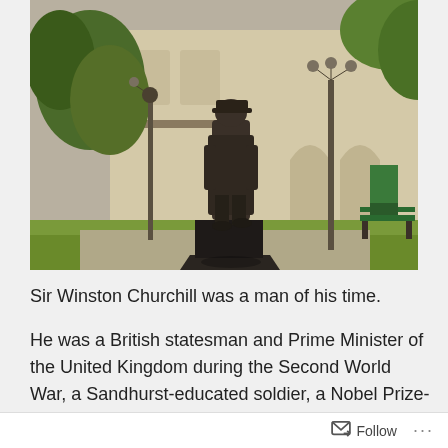[Figure (photo): A bronze statue of Sir Winston Churchill standing on a dark pedestal, set in a park or square with large trees, a classical stone building facade, ornate lamp posts, and a green bench visible in the background.]
Sir Winston Churchill was a man of his time.
He was a British statesman and Prime Minister of the United Kingdom during the Second World War, a Sandhurst-educated soldier, a Nobel Prize-winning
Follow ...